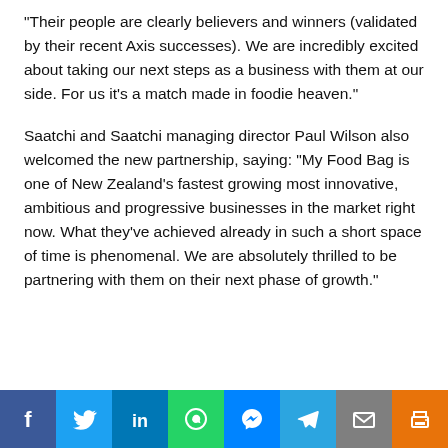“Their people are clearly believers and winners (validated by their recent Axis successes). We are incredibly excited about taking our next steps as a business with them at our side. For us it’s a match made in foodie heaven.”
Saatchi and Saatchi managing director Paul Wilson also welcomed the new partnership, saying: “My Food Bag is one of New Zealand’s fastest growing most innovative, ambitious and progressive businesses in the market right now. What they’ve achieved already in such a short space of time is phenomenal. We are absolutely thrilled to be partnering with them on their next phase of growth.”
[Figure (infographic): Social media sharing bar with icons for Facebook, Twitter, LinkedIn, WhatsApp, Messenger, Telegram, Email, and Print]